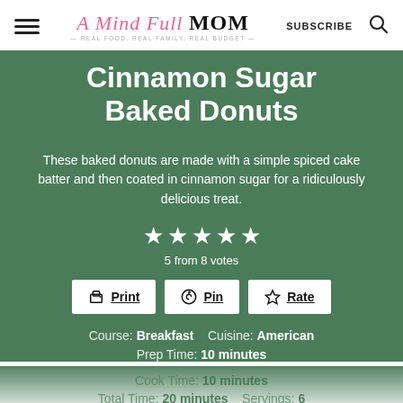A Mind Full Mom — SUBSCRIBE
Cinnamon Sugar Baked Donuts
These baked donuts are made with a simple spiced cake batter and then coated in cinnamon sugar for a ridiculously delicious treat.
5 from 8 votes
Print  Pin  Rate
Course: Breakfast    Cuisine: American
Prep Time: 10 minutes
Cook Time: 10 minutes
Total Time: 20 minutes    Servings: 6